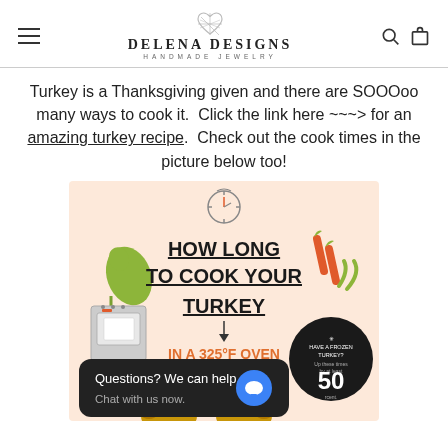DELENA DESIGNS HANDMADE JEWELRY
Turkey is a Thanksgiving given and there are SOOOoo many ways to cook it.  Click the link here ~~~> for an amazing turkey recipe.  Check out the cook times in the picture below too!
[Figure (infographic): Infographic titled 'HOW LONG TO COOK YOUR TURKEY IN A 325°F OVEN' with illustrations of an oven mitt, oven, carrots, and turkey. Includes a dark circle badge about frozen turkey. A chat widget overlays the bottom portion reading 'Questions? We can help. Chat with us now.']